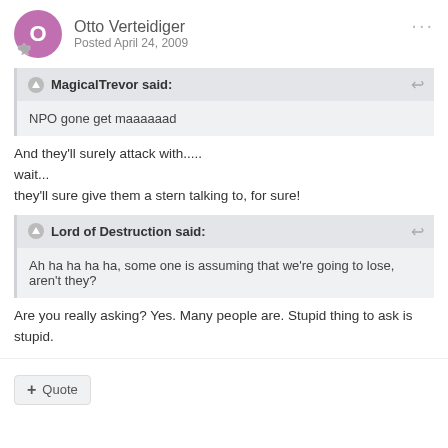Otto Verteidiger
Posted April 24, 2009
MagicalTrevor said:
NPO gone get maaaaaad
And they'll surely attack with.....
wait...
they'll sure give them a stern talking to, for sure!
Lord of Destruction said:
Ah ha ha ha ha, some one is assuming that we're going to lose, aren't they?
Are you really asking? Yes. Many people are. Stupid thing to ask is stupid.
+ Quote